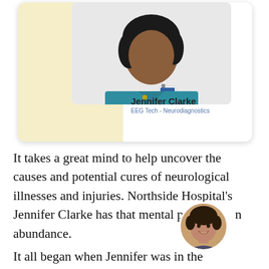[Figure (photo): Profile card with photo of Jennifer Clarke, an EEG Tech in Neurodiagnostics at Northside Hospital, wearing blue scrubs and a hospital ID badge. Background has a pale yellow decorative shape.]
Jennifer Clarke
EEG Tech - Neurodiagnostics
It takes a great mind to help uncover the causes and potential cures of neurological illnesses and injuries. Northside Hospital's Jennifer Clarke has that mental power in abundance.
[Figure (photo): Small circular avatar photo of a smiling man with dark curly hair, overlaid on the body text.]
It all began when Jennifer was in the